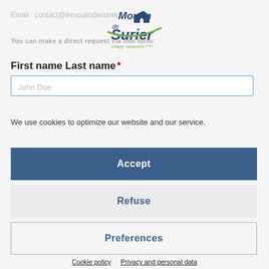[Figure (logo): Moulin de Surier village vacances logo]
Email : contact@lemoulindesurier...
You can make a direct request via this form:
First name Last name *
John Doe
We use cookies to optimize our website and our service.
Accept
Refuse
Preferences
Cookie policy   Privacy and personal data